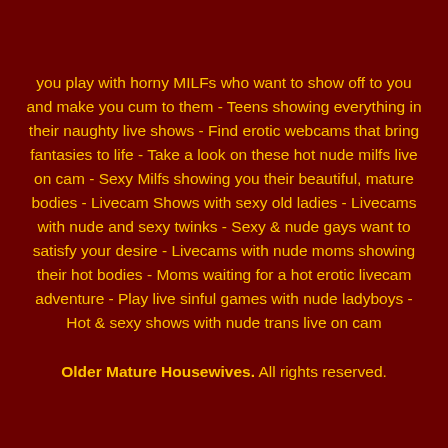you play with horny MILFs who want to show off to you and make you cum to them - Teens showing everything in their naughty live shows - Find erotic webcams that bring fantasies to life - Take a look on these hot nude milfs live on cam - Sexy Milfs showing you their beautiful, mature bodies - Livecam Shows with sexy old ladies - Livecams with nude and sexy twinks - Sexy & nude gays want to satisfy your desire - Livecams with nude moms showing their hot bodies - Moms waiting for a hot erotic livecam adventure - Play live sinful games with nude ladyboys - Hot & sexy shows with nude trans live on cam
Older Mature Housewives. All rights reserved.